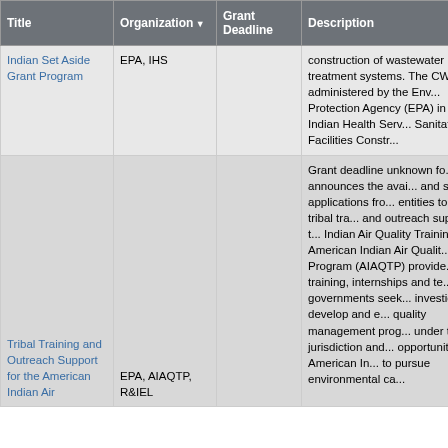| Title | Organization | Grant Deadline | Description |
| --- | --- | --- | --- |
| Indian Set Aside Grant Program | EPA, IHS |  | construction of wastewater treatment systems. The CW is administered by the Environmental Protection Agency (EPA) in with the Indian Health Service Sanitation Facilities Constr... |
| Tribal Training and Outreach Support for the American Indian Air ... | EPA, AIAQTP, R&IEL |  | Grant deadline unknown fo... notice announces the avai... and solicits applications fro... entities to provide tribal tra... and outreach support for t... Indian Air Quality Training ... American Indian Air Qualit... Program (AIAQTP) provide... training, internships and te... to tribal governments seek... investigate, develop and e... quality management prog... under their jurisdiction and... opportunity for American In... to pursue environmental ca... |